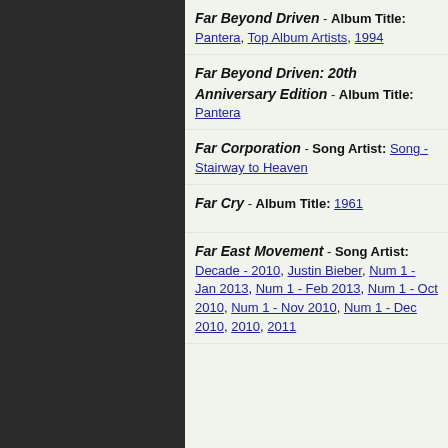Far Beyond Driven - Album Title: Pantera, Top Album Artists, 1994
Far Beyond Driven: 20th Anniversary Edition - Album Title: Pantera
Far Corporation - Song Artist: Song - Stairway to Heaven
Far Cry - Album Title: 1961
Far East Movement - Song Artist: Decade - 2010, Justin Bieber, Num 1 - Jan 2013, Num 1 - Feb 2013, Num 1 - Oct 2010, Num 1 - Nov 2010, Num 1 - Dec 2010, 2010, 2011